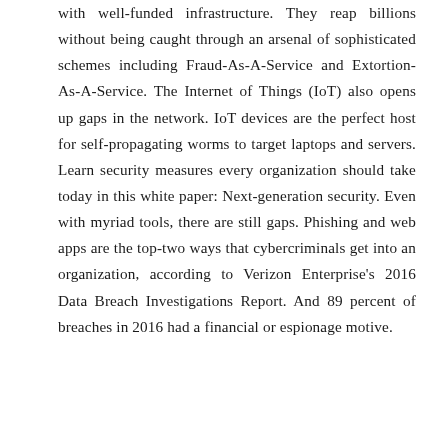with well-funded infrastructure. They reap billions without being caught through an arsenal of sophisticated schemes including Fraud-As-A-Service and Extortion-As-A-Service. The Internet of Things (IoT) also opens up gaps in the network. IoT devices are the perfect host for self-propagating worms to target laptops and servers. Learn security measures every organization should take today in this white paper: Next-generation security. Even with myriad tools, there are still gaps. Phishing and web apps are the top-two ways that cybercriminals get into an organization, according to Verizon Enterprise's 2016 Data Breach Investigations Report. And 89 percent of breaches in 2016 had a financial or espionage motive.